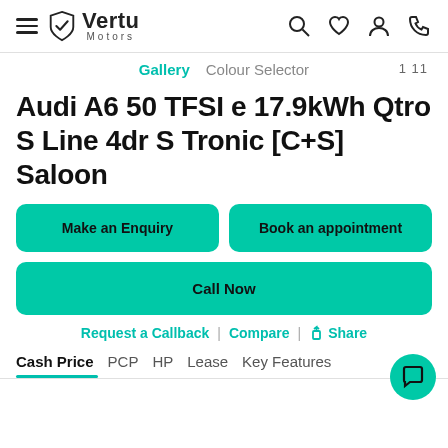Vertu Motors
1 11
Gallery  Colour Selector
Audi A6 50 TFSI e 17.9kWh Qtro S Line 4dr S Tronic [C+S] Saloon
Make an Enquiry
Book an appointment
Call Now
Request a Callback | Compare | Share
Cash Price  PCP  HP  Lease  Key Features